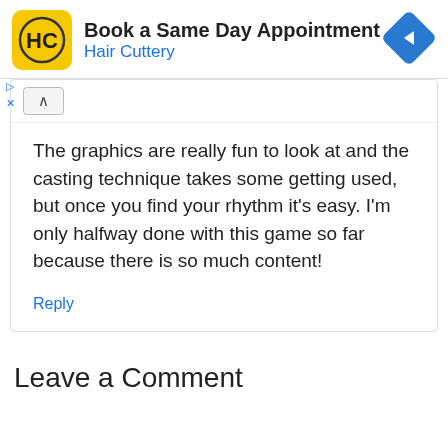[Figure (logo): Hair Cuttery advertisement banner with yellow HC logo, 'Book a Same Day Appointment' heading, 'Hair Cuttery' subtitle in blue, and a blue diamond navigation arrow icon on the right]
The graphics are really fun to look at and the casting technique takes some getting used, but once you find your rhythm it’s easy. I’m only halfway done with this game so far because there is so much content!
Reply
Leave a Comment